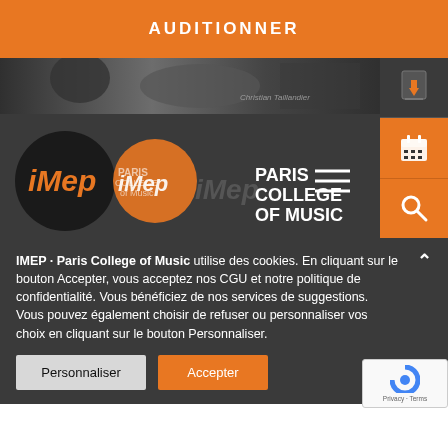AUDITIONNER
[Figure (screenshot): Website header of IMEP Paris College of Music with logo on dark background and sidebar icons]
IMEP · Paris College of Music utilise des cookies. En cliquant sur le bouton Accepter, vous acceptez nos CGU et notre politique de confidentialité. Vous bénéficiez de nos services de suggestions. Vous pouvez également choisir de refuser ou personnaliser vos choix en cliquant sur le bouton Personnaliser.
Personnaliser
Accepter